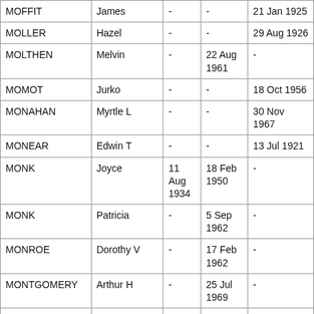| Last Name | First Name | Col3 | Col4 | Date |
| --- | --- | --- | --- | --- |
| MOFFIT | James | - | - | 21 Jan 1925 |
| MOLLER | Hazel | - | - | 29 Aug 1926 |
| MOLTHEN | Melvin | - | 22 Aug 1961 | - |
| MOMOT | Jurko | - | - | 18 Oct 1956 |
| MONAHAN | Myrtle L | - | - | 30 Nov 1967 |
| MONEAR | Edwin T | - | - | 13 Jul 1921 |
| MONK | Joyce | 11 Aug 1934 | 18 Feb 1950 | - |
| MONK | Patricia | - | 5 Sep 1962 | - |
| MONROE | Dorothy V | - | 17 Feb 1962 | - |
| MONTGOMERY | Arthur H | - | 25 Jul 1969 | - |
| MONTGOMERY | Jane Ellen | 5 Nov 1946 | 4 Feb 1947 | - |
| MONTGOMERY | Robert R | - | - | 16 Jan 1969 |
| MONTGOMERY | R | - | - | 19 Oct 1926 |